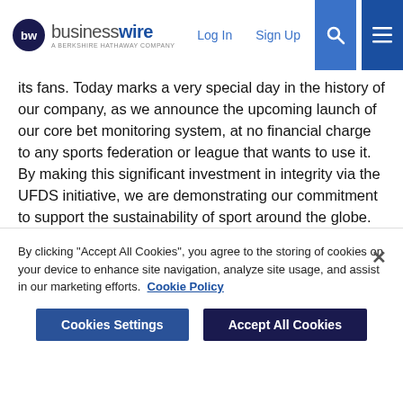businesswire - A Berkshire Hathaway Company | Log In | Sign Up
its fans. Today marks a very special day in the history of our company, as we announce the upcoming launch of our core bet monitoring system, at no financial charge to any sports federation or league that wants to use it. By making this significant investment in integrity via the UFDS initiative, we are demonstrating our commitment to support the sustainability of sport around the globe.
“We are continuing to upscale our technology and operation to handle this considerable undertaking, and as well as providing it to new partners we have already set about discussing and implementing the UFDS with our 70+ existing FDS partners. We are very excited to launch this exciting initiative and add to the
By clicking “Accept All Cookies”, you agree to the storing of cookies on your device to enhance site navigation, analyze site usage, and assist in our marketing efforts. Cookie Policy
Cookies Settings
Accept All Cookies